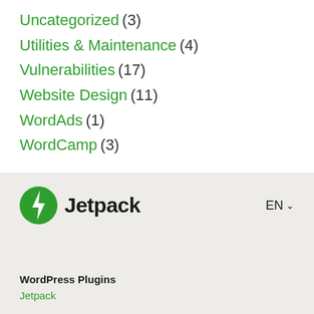Uncategorized (3)
Utilities & Maintenance (4)
Vulnerabilities (17)
Website Design (11)
WordAds (1)
WordCamp (3)
[Figure (logo): Jetpack logo with green circle and lightning bolt icon, followed by bold text 'Jetpack']
EN ∨
WordPress Plugins
Jetpack